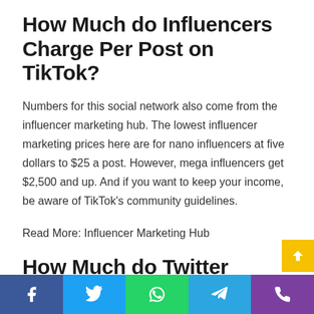How Much do Influencers Charge Per Post on TikTok?
Numbers for this social network also come from the influencer marketing hub. The lowest influencer marketing prices here are for nano influencers at five dollars to $25 a post. However, mega influencers get $2,500 and up. And if you want to keep your income, be aware of TikTok's community guidelines.
Read More: Influencer Marketing Hub
How Much do Twitter Influencers Charge Per Post?
Facebook | Twitter | WhatsApp | Telegram | Phone